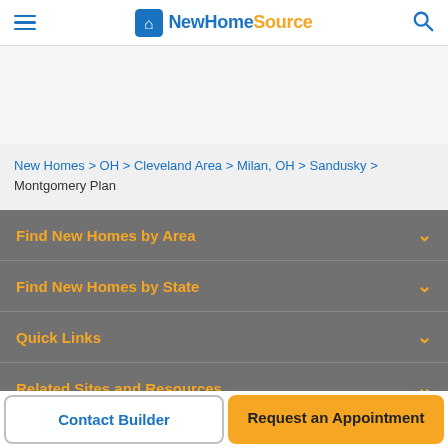NewHomeSource (navigation header with hamburger menu and search icon)
New Homes > OH > Cleveland Area > Milan, OH > Sandusky > Montgomery Plan
Find New Homes by Area
Find New Homes by State
Quick Links
Related Sites and Resources
Contact Builder
Request an Appointment